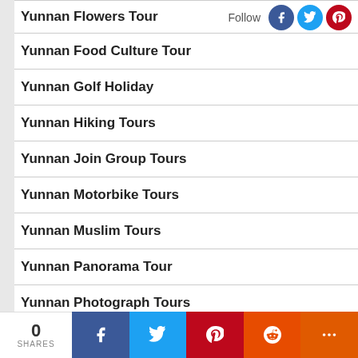Yunnan Flowers Tour
[Figure (infographic): Follow text with Facebook, Twitter, and Pinterest social icons]
Yunnan Food Culture Tour
Yunnan Golf Holiday
Yunnan Hiking Tours
Yunnan Join Group Tours
Yunnan Motorbike Tours
Yunnan Muslim Tours
Yunnan Panorama Tour
Yunnan Photograph Tours
Yunnan RV Tours
0 SHARES | Facebook | Twitter | Pinterest | Reddit | More